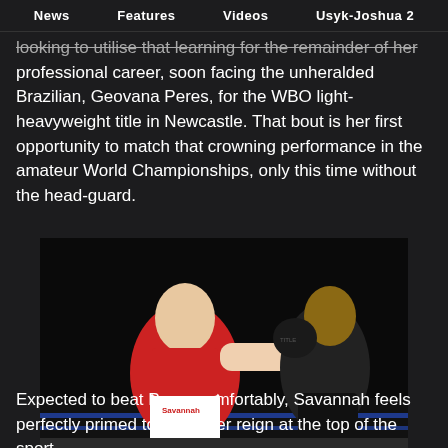News   Features   Videos   Usyk-Joshua 2
looking to utilise that learning for the remainder of her professional career, soon facing the unheralded Brazilian, Geovana Peres, for the WBO light-heavyweight title in Newcastle. That bout is her first opportunity to match that crowning performance in the amateur World Championships, only this time without the head-guard.
[Figure (photo): Female boxer in red and white kit throwing a punch at opponent in black kit during a boxing match]
Expected to beat Peres comfortably, Savannah feels perfectly primed to begin her reign at the top of the sport.